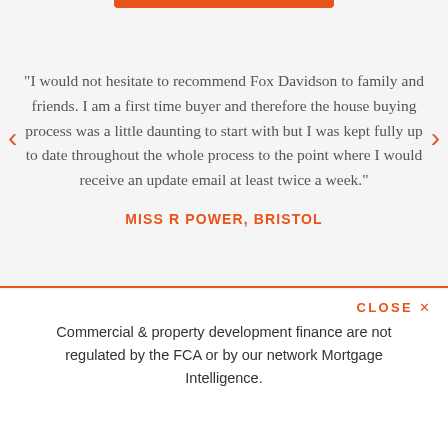"I would not hesitate to recommend Fox Davidson to family and friends. I am a first time buyer and therefore the house buying process was a little daunting to start with but I was kept fully up to date throughout the whole process to the point where I would receive an update email at least twice a week."
MISS R POWER, BRISTOL
CLOSE ×
Commercial & property development finance are not regulated by the FCA or by our network Mortgage Intelligence.